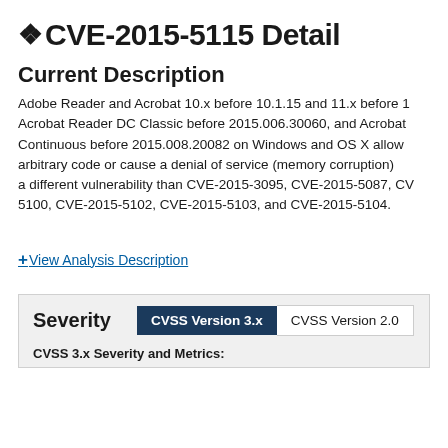CVE-2015-5115 Detail
Current Description
Adobe Reader and Acrobat 10.x before 10.1.15 and 11.x before 1... Acrobat Reader DC Classic before 2015.006.30060, and Acrobat... Continuous before 2015.008.20082 on Windows and OS X allow... arbitrary code or cause a denial of service (memory corruption... a different vulnerability than CVE-2015-3095, CVE-2015-5087, CV... 5100, CVE-2015-5102, CVE-2015-5103, and CVE-2015-5104.
+View Analysis Description
Severity   CVSS Version 3.x   CVSS Version 2.0
CVSS 3.x Severity and Metrics: